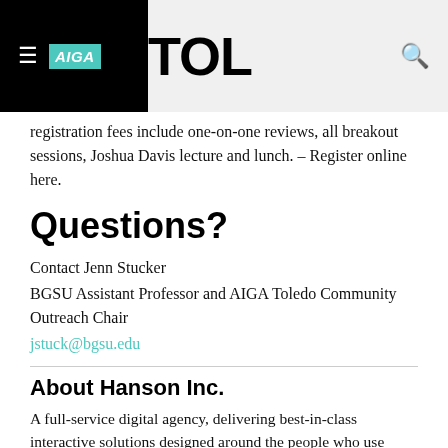AIGA TOL
registration fees include one-on-one reviews, all breakout sessions, Joshua Davis lecture and lunch. – Register online here.
Questions?
Contact Jenn Stucker
BGSU Assistant Professor and AIGA Toledo Community Outreach Chair
jstuck@bgsu.edu
About Hanson Inc.
A full-service digital agency, delivering best-in-class interactive solutions designed around the people who use them, and in alignment with each client's strategic objectives. Hanson Inc. is 85+ innovative thinkers, eager learners, insightful listeners, meticulous workers and loyal partners. hansoninc.com